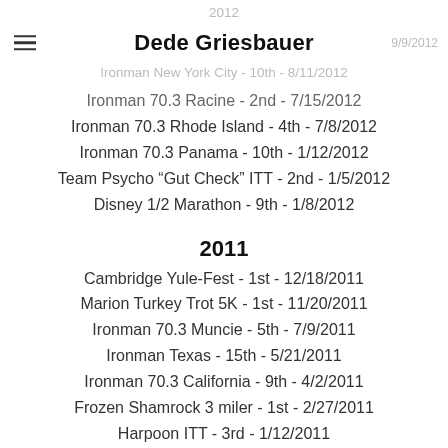Dede Griesbauer
Ironman 70.3 Racine - 2nd - 7/15/2012
Ironman 70.3 Rhode Island - 4th - 7/8/2012
Ironman 70.3 Panama - 10th - 1/12/2012
Team Psycho “Gut Check” ITT - 2nd - 1/5/2012
Disney 1/2 Marathon - 9th - 1/8/2012
2011
Cambridge Yule-Fest - 1st - 12/18/2011
Marion Turkey Trot 5K - 1st - 11/20/2011
Ironman 70.3 Muncie - 5th - 7/9/2011
Ironman Texas - 15th - 5/21/2011
Ironman 70.3 California - 9th - 4/2/2011
Frozen Shamrock 3 miler - 1st - 2/27/2011
Harpoon ITT - 3rd - 1/12/2011
Run to Kick Cancer 5k 2010 - 2nd - 1/8/2011